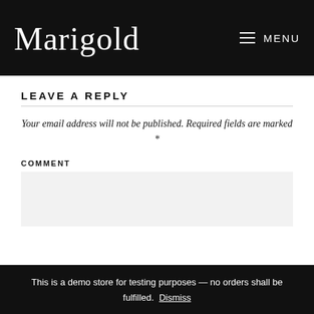Marigold  MENU
LEAVE A REPLY
Your email address will not be published. Required fields are marked *
COMMENT
This is a demo store for testing purposes — no orders shall be fulfilled. Dismiss